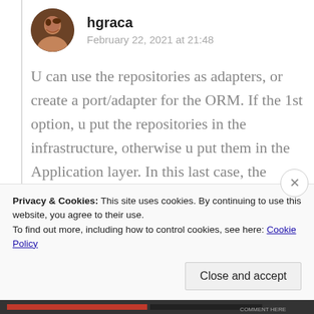hgraca
February 22, 2021 at 21:48
U can use the repositories as adapters, or create a port/adapter for the ORM. If the 1st option, u put the repositories in the infrastructure, otherwise u put them in the Application layer. In this last case, the repositories interfaces are still useful cozz for testing u can use
Privacy & Cookies: This site uses cookies. By continuing to use this website, you agree to their use.
To find out more, including how to control cookies, see here: Cookie Policy